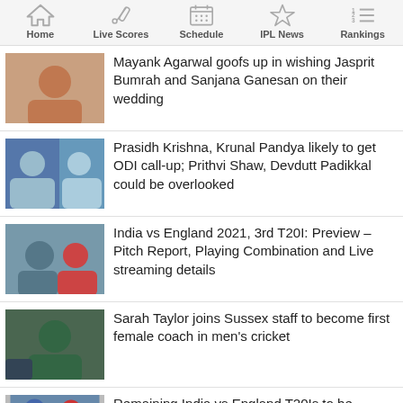Home | Live Scores | Schedule | IPL News | Rankings
Mayank Agarwal goofs up in wishing Jasprit Bumrah and Sanjana Ganesan on their wedding
Prasidh Krishna, Krunal Pandya likely to get ODI call-up; Prithvi Shaw, Devdutt Padikkal could be overlooked
India vs England 2021, 3rd T20I: Preview – Pitch Report, Playing Combination and Live streaming details
Sarah Taylor joins Sussex staff to become first female coach in men's cricket
Remaining India vs England T20Is to be...